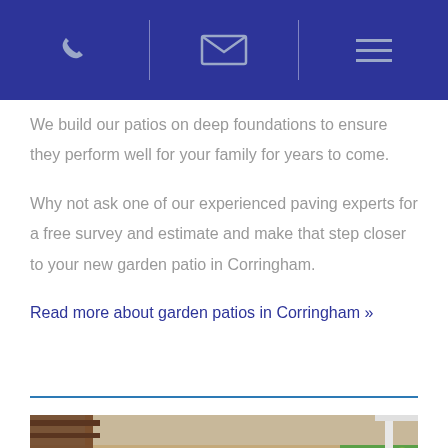[Phone icon] [Email icon] [Menu icon]
We build our patios on deep foundations to ensure they perform well for your family for years to come.
Why not ask one of our experienced paving experts for a free survey and estimate and make that step closer to your new garden patio in Corringham.
Read more about garden patios in Corringham »
[Figure (photo): Photograph of a garden patio with sandstone flagging, a wooden pergola structure on the left and green lawn on the right]